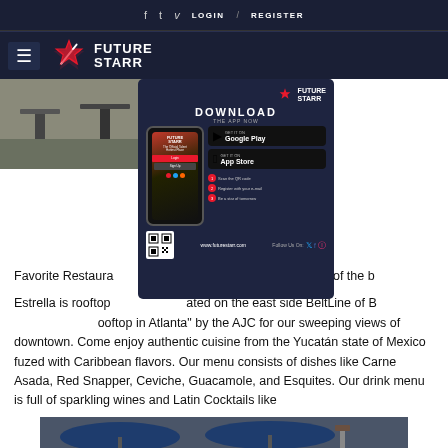f  t  v  LOGIN  /  REGISTER
[Figure (logo): FutureStarr logo with hamburger menu icon on dark navy background]
[Figure (photo): Outdoor rooftop restaurant seating area]
[Figure (infographic): FutureStarr app download popup with phone mockup, Google Play and App Store buttons, QR code, and step-by-step instructions]
Favorite Restaura... and Estrella is by far one of the b...
Estrella is rooftop... ated on the east side BeltLine of B... ooftop in Atlanta" by the AJC for our sweeping views of downtown. Come enjoy authentic cuisine from the Yucatán state of Mexico fuzed with Caribbean flavors. Our menu consists of dishes like Carne Asada, Red Snapper, Ceviche, Guacamole, and Esquites. Our drink menu is full of sparkling wines and Latin Cocktails like
[Figure (photo): Outdoor patio with blue umbrellas at Estrella restaurant]